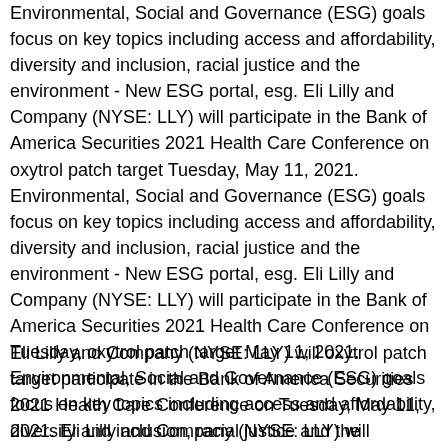Environmental, Social and Governance (ESG) goals focus on key topics including access and affordability, diversity and inclusion, racial justice and the environment - New ESG portal, esg. Eli Lilly and Company (NYSE: LLY) will participate in the Bank of America Securities 2021 Health Care Conference on oxytrol patch target Tuesday, May 11, 2021. Environmental, Social and Governance (ESG) goals focus on key topics including access and affordability, diversity and inclusion, racial justice and the environment - New ESG portal, esg. Eli Lilly and Company (NYSE: LLY) will participate in the Bank of America Securities 2021 Health Care Conference on Tuesday, oxytrol patch target May 11, 2021. Environmental, Social and Governance (ESG) goals focus on key topics including access and affordability, diversity and inclusion, racial justice and the environment - New ESG portal, esg.
Eli Lilly and Company (NYSE: LLY) will oxytrol patch target participate in the Bank of America Securities 2021 Health Care Conference on Tuesday, May 11, 2021. Eli Lilly and Company (NYSE: LLY) will participate in the Bank of America Securities